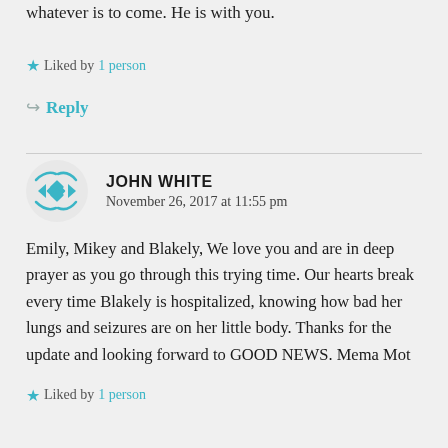whatever is to come. He is with you.
Liked by 1 person
Reply
JOHN WHITE
November 26, 2017 at 11:55 pm
Emily, Mikey and Blakely, We love you and are in deep prayer as you go through this trying time. Our hearts break every time Blakely is hospitalized, knowing how bad her lungs and seizures are on her little body. Thanks for the update and looking forward to GOOD NEWS. Mema Mot
Liked by 1 person